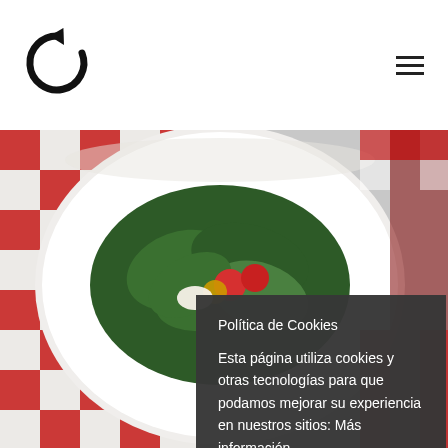[Figure (logo): Circular refresh/reset arrow icon in black, used as site logo in top left of header]
[Figure (photo): Food photo showing a white bowl with a fresh salad of spinach leaves, cherry tomatoes and mozzarella on a red and white checkered tablecloth]
Política de Cookies
Esta página utiliza cookies y otras tecnologías para que podamos mejorar su experiencia en nuestros sitios: Más información.
Aceptar
Rechazar